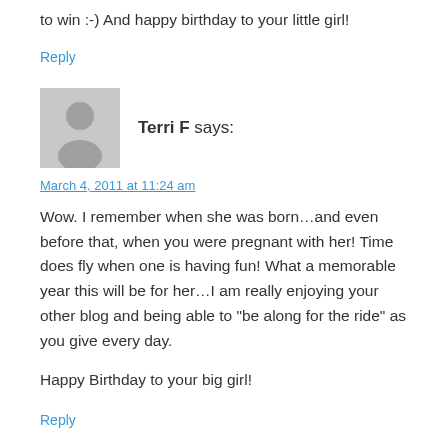to win :-) And happy birthday to your little girl!
Reply
[Figure (illustration): Default grey avatar placeholder icon showing a silhouette of a person]
Terri F says:
March 4, 2011 at 11:24 am
Wow. I remember when she was born…and even before that, when you were pregnant with her! Time does fly when one is having fun! What a memorable year this will be for her…I am really enjoying your other blog and being able to "be along for the ride" as you give every day.
Happy Birthday to your big girl!
Reply